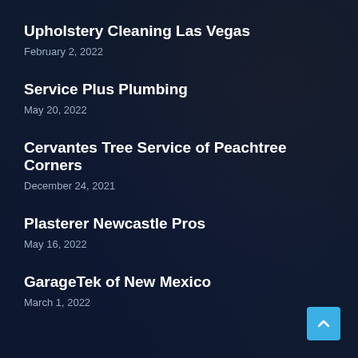Upholstery Cleaning Las Vegas
February 2, 2022
Service Plus Plumbing
May 20, 2022
Cervantes Tree Service of Peachtree Corners
December 24, 2021
Plasterer Newcastle Pros
May 16, 2022
GarageTek of New Mexico
March 1, 2022